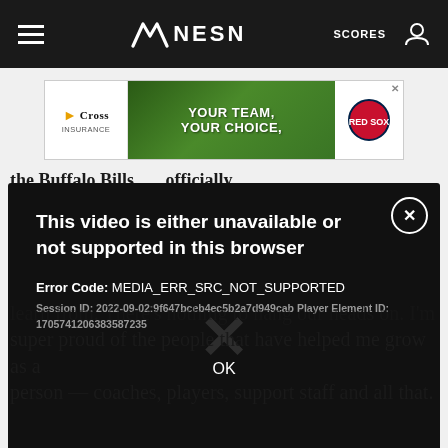NESN — SCORES
[Figure (screenshot): Advertisement banner: Cross Insurance with baseball field image and Boston Red Sox logo, text 'YOUR TEAM, YOUR CHOICE,']
This video is either unavailable or not supported in this browser
Error Code: MEDIA_ERR_SRC_NOT_SUPPORTED
Session ID: 2022-09-02:9f647bceb4ec5b2a7d949cab Player Element ID: 170574120638358723 5
OK
learn from. There's nothing to hang our heads on. I'm super proud of the people that have helped me grow as a person — coaches, players, support staff and all that.